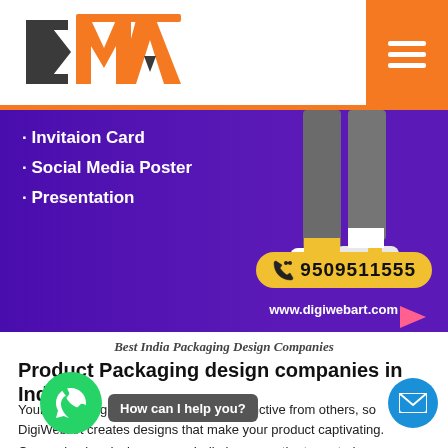[Figure (logo): DMAA logo with orange and dark grey lettering, with orange hamburger menu on right]
[Figure (illustration): Purple banner showing bullet list: Invitaion Card, Social Media Poster, Presentation; illustrated legs with yellow sneakers; yellow phone badge with 9509511555; website www.digiwebart.com]
Best India Packaging Design Companies
Product Packaging design companies in India
Your packaging makes your product distinctive from others, so DigiWebArt creates designs that make your product captivating. Our packaging design agency India is among the top-rated
[Figure (illustration): Green WhatsApp circular button bottom left]
How can I help you?
[Figure (illustration): Blue email circular button bottom right]